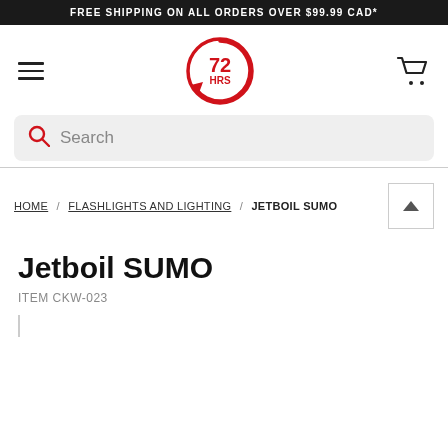FREE SHIPPING ON ALL ORDERS OVER $99.99 CAD*
[Figure (logo): 72 HRS logo — circular red border with circular arrow, bold red '72' and smaller 'HRS' text inside]
Search
HOME / FLASHLIGHTS AND LIGHTING / JETBOIL SUMO
Jetboil SUMO
ITEM CKW-023